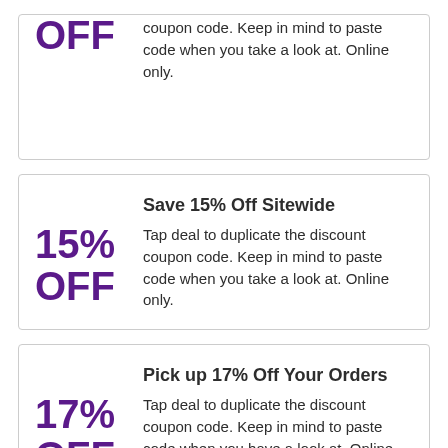OFF
coupon code. Keep in mind to paste code when you take a look at. Online only.
Save 15% Off Sitewide
15% OFF
Tap deal to duplicate the discount coupon code. Keep in mind to paste code when you take a look at. Online only.
Pick up 17% Off Your Orders
17% OFF
Tap deal to duplicate the discount coupon code. Keep in mind to paste code when you have a look at. Online